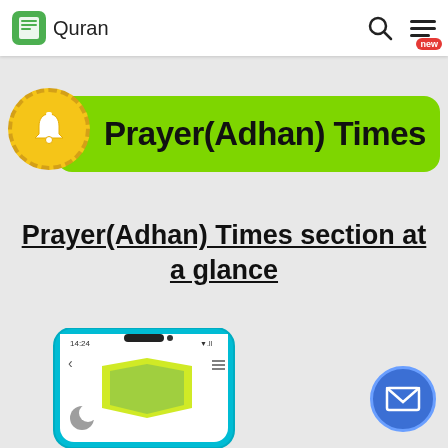Quran
[Figure (screenshot): App banner with bell icon and green pill labeled 'Prayer(Adhan) Times']
Prayer(Adhan) Times section at a glance
[Figure (screenshot): Mobile phone screenshot showing the Prayer(Adhan) Times section of the Quran app at 14:24]